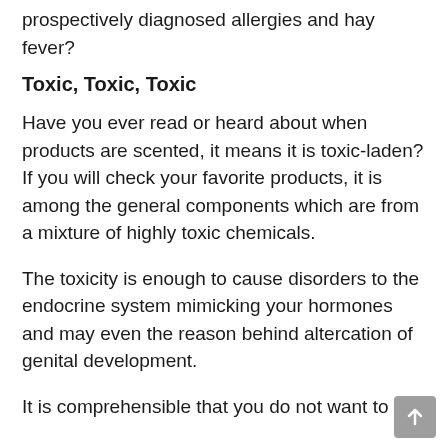prospectively diagnosed allergies and hay fever?
Toxic, Toxic, Toxic
Have you ever read or heard about when products are scented, it means it is toxic-laden? If you will check your favorite products, it is among the general components which are from a mixture of highly toxic chemicals.
The toxicity is enough to cause disorders to the endocrine system mimicking your hormones and may even the reason behind altercation of genital development.
It is comprehensible that you do not want to get